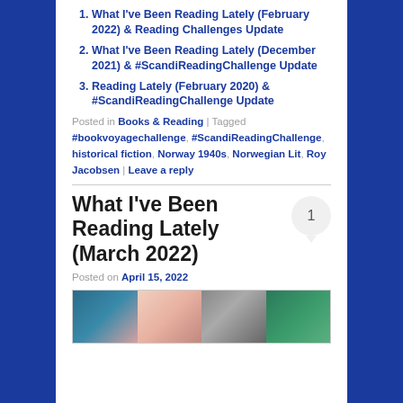1. What I've Been Reading Lately (February 2022) & Reading Challenges Update
2. What I've Been Reading Lately (December 2021) & #ScandiReadingChallenge Update
3. Reading Lately (February 2020) & #ScandiReadingChallenge Update
Posted in Books & Reading | Tagged #bookvoyagechallenge, #ScandiReadingChallenge, historical fiction, Norway 1940s, Norwegian Lit, Roy Jacobsen | Leave a reply
What I've Been Reading Lately (March 2022)
Posted on April 15, 2022
[Figure (photo): Photo showing book spines and covers arranged side by side]